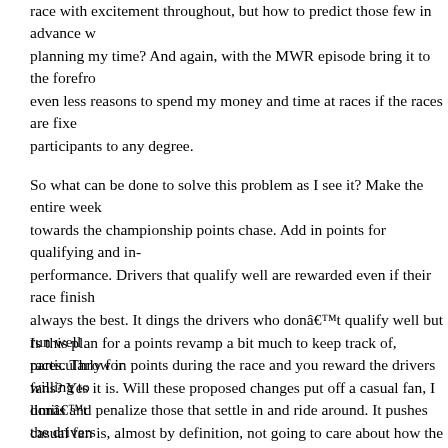race with excitement throughout, but how to predict those few in advance when planning my time? And again, with the MWR episode bring it to the forefront, even less reasons to spend my money and time at races if the races are fixed for participants to any degree.
So what can be done to solve this problem as I see it? Make the entire week towards the championship points chase. Add in points for qualifying and in-performance. Drivers that qualify well are rewarded even if their race finish always the best. It dings the drivers who donâ€™t qualify well but run well races. Throw in points during the race and you reward the drivers willing to limits and penalize those that settle in and ride around. It pushes the drivers best all weekend long and causes team orders to hurt the individual driverâ€™ chances getting to the Chase. Then during the Chase team orders can be see drivers changes their habits during the last 10 races.
Is this plan for a points revamp a bit much to keep track of, particularly for fans? Yes it is. Will these proposed changes put off a casual fan, I donâ€™t casual fan is, almost by definition, not going to care about how the overall s championship turns out. A casual fan wants to see action on the track. They tune into, or go to, the race to see drivers competing for the lead more than competing to get a good finish and have a good points day even if we didnâ the race day. The casual fan may not be back as things stand today for the n five races or ever because its all about having a good points day now. Weâ€ fewer casual fans tuning into the broadcasts much less going to the tracks. I